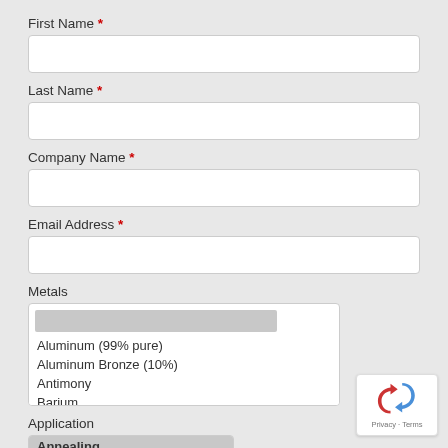First Name *
[Figure (other): Empty text input field for First Name]
Last Name *
[Figure (other): Empty text input field for Last Name]
Company Name *
[Figure (other): Empty text input field for Company Name]
Email Address *
[Figure (other): Empty text input field for Email Address]
Metals
[Figure (other): Dropdown list showing metals: scrollbar at top, then Aluminum (99% pure), Aluminum Bronze (10%), Antimony, Barium (partially visible)]
Application
[Figure (other): Dropdown list showing Application with Annealing highlighted and Barium partially visible]
[Figure (other): reCAPTCHA badge with arrow/refresh icon and Privacy - Terms text]